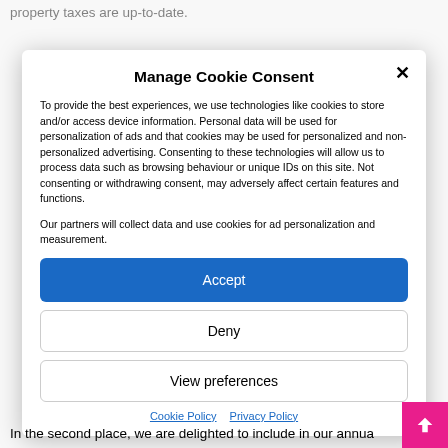property taxes are up-to-date.
Manage Cookie Consent
To provide the best experiences, we use technologies like cookies to store and/or access device information. Personal data will be used for personalization of ads and that cookies may be used for personalized and non-personalized advertising. Consenting to these technologies will allow us to process data such as browsing behaviour or unique IDs on this site. Not consenting or withdrawing consent, may adversely affect certain features and functions.
Our partners will collect data and use cookies for ad personalization and measurement.
Accept
Deny
View preferences
Cookie Policy   Privacy Policy
In the second place, we are delighted to include in our annua